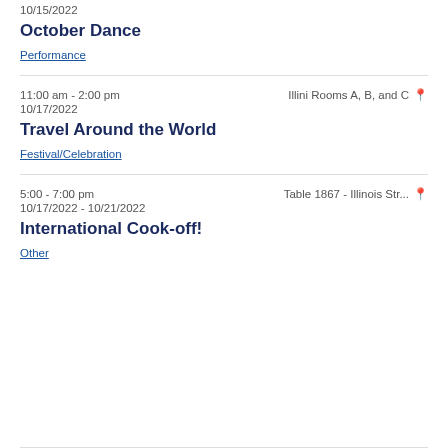10/15/2022
October Dance
Performance
11:00 am - 2:00 pm   Illini Rooms A, B, and C   10/17/2022
Travel Around the World
Festival/Celebration
5:00 - 7:00 pm   Table 1867 - Illinois Str...   10/17/2022 - 10/21/2022
International Cook-off!
Other